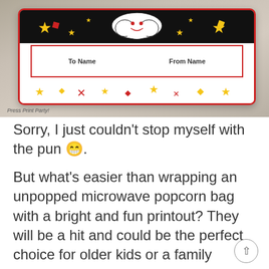[Figure (photo): A decorated microwave popcorn bag wrapped with a white printout featuring a red border, movie/popcorn themed icons (stars, popcorn cloud), and label fields for 'To Name' and 'From Name'. The bag is photographed on a gray surface.]
Press Print Party!
Sorry, I just couldn't stop myself with the pun 😁.
But what's easier than wrapping an unpopped microwave popcorn bag with a bright and fun printout? They will be a hit and could be the perfect choice for older kids or a family member as well.
Edit in your kids' names and you'll have a